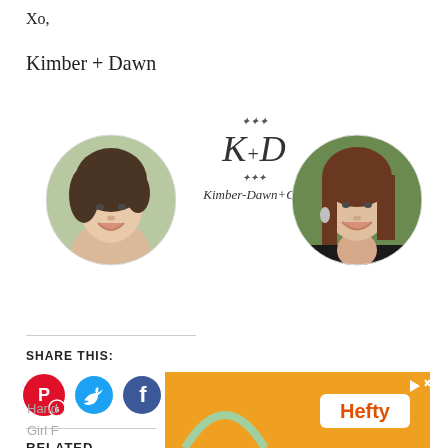Xo,
Kimber + Dawn
[Figure (photo): Two circular portrait photos of Kimber (left, woman with curly hair, smiling, outdoors) and Dawn (right, woman with straight hair, smiling, outdoors), with a Kimber-Dawn+Co logo in the center featuring decorative script and K+D monogram.]
SHARE THIS:
[Figure (infographic): Row of social sharing icon circles: Pinterest (red with P and badge 6), Twitter (blue with bird), Facebook (blue with f), Print (light gray with printer), Email (light gray with envelope)]
RELATED
Hand
Girl F
[Figure (screenshot): Advertisement banner for Hefty brand, orange background with Hefty logo and close/play icons]